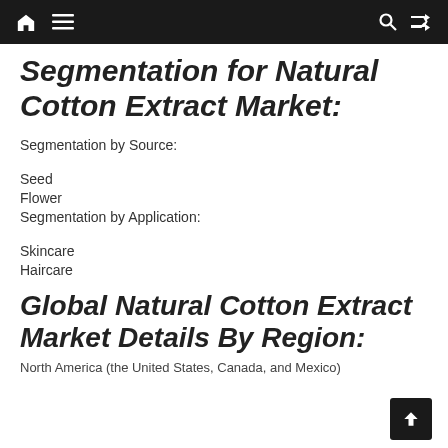Navigation bar with home, menu, search, and shuffle icons
Segmentation for Natural Cotton Extract Market:
Segmentation by Source:
Seed
Flower
Segmentation by Application:
Skincare
Haircare
Global Natural Cotton Extract Market Details By Region:
North America (the United States, Canada, and Mexico)